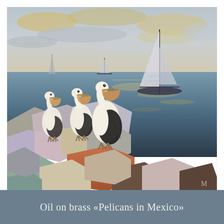[Figure (illustration): A painting showing three pelicans standing on colorful hexagonal rocks near a waterfront at dusk. Two sailboats are visible on the water in the background. The sky has golden and grey clouds. The water reflects the warm light. An artist monogram 'M' is visible in the lower right corner. The rocks are painted in muted pastel and earth tones — lavender, pink, tan, orange, teal, brown.]
Oil on brass «Pelicans in Mexico»